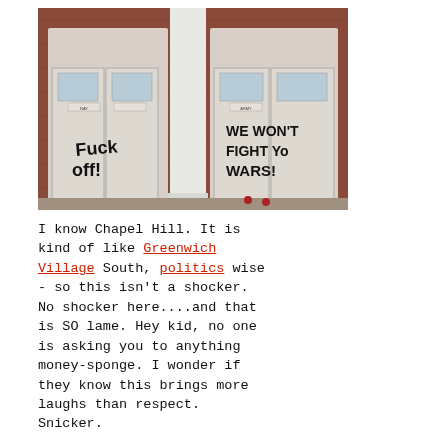[Figure (photo): Photo of a brick building entrance with two white double doors. Graffiti is written on the doors in black paint. Left door reads 'Fuck off!' and right door reads 'We Won't Fight Your Wars!'. There is a white column between the doors.]
I know Chapel Hill. It is kind of like Greenwich Village South, politics wise - so this isn't a shocker. No shocker here....and that is SO lame. Hey kid, no one is asking you to anything money-sponge. I wonder if they know this brings more laughs than respect. Snicker.